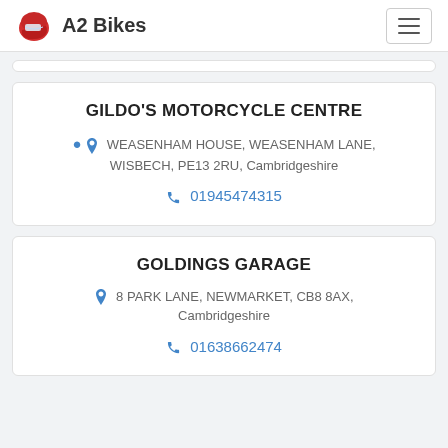A2 Bikes
GILDO'S MOTORCYCLE CENTRE
WEASENHAM HOUSE, WEASENHAM LANE, WISBECH, PE13 2RU, Cambridgeshire
01945474315
GOLDINGS GARAGE
8 PARK LANE, NEWMARKET, CB8 8AX, Cambridgeshire
01638662474